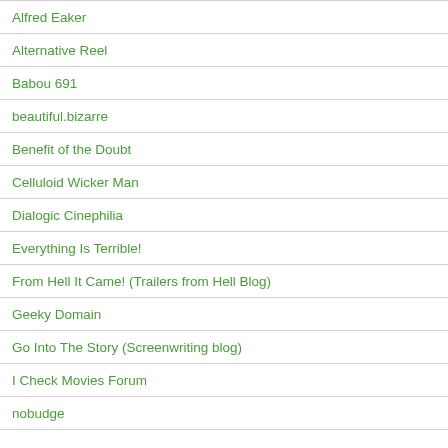Alfred Eaker
Alternative Reel
Babou 691
beautiful.bizarre
Benefit of the Doubt
Celluloid Wicker Man
Dialogic Cinephilia
Everything Is Terrible!
From Hell It Came! (Trailers from Hell Blog)
Geeky Domain
Go Into The Story (Screenwriting blog)
I Check Movies Forum
nobudge